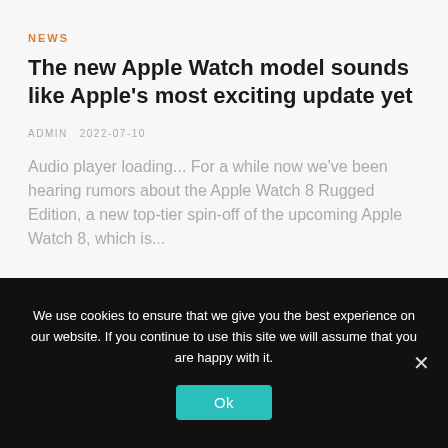NEWS
The new Apple Watch model sounds like Apple’s most exciting update yet
ADMIN   2022-07-10
Audio player loading... For a while now we’ve been hearing rumors about the Apple Watch 8 Rugged Edition, a new top-tier spin-off of the upcoming Apple Watch 8, which is...
We use cookies to ensure that we give you the best experience on our website. If you continue to use this site we will assume that you are happy with it.